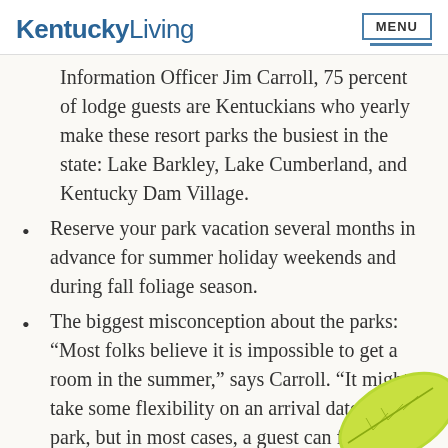KentuckyLiving | MENU
Information Officer Jim Carroll, 75 percent of lodge guests are Kentuckians who yearly make these resort parks the busiest in the state: Lake Barkley, Lake Cumberland, and Kentucky Dam Village.
Reserve your park vacation several months in advance for summer holiday weekends and during fall foliage season.
The biggest misconception about the parks: “Most folks believe it is impossible to get a room in the summer,” says Carroll. “It might take some flexibility on an arrival date or a park, but in most cases, a guest can find a room even in the summer.”
[Figure (illustration): Green leaf decoration in bottom right corner]